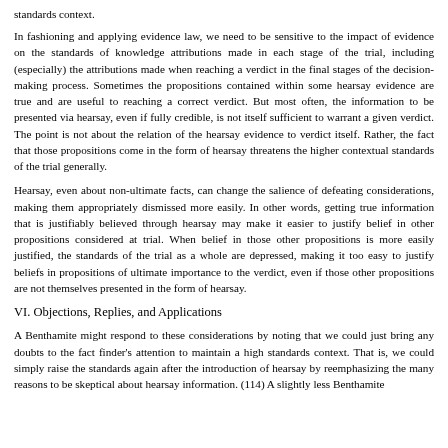standards context.
In fashioning and applying evidence law, we need to be sensitive to the impact of evidence on the standards of knowledge attributions made in each stage of the trial, including (especially) the attributions made when reaching a verdict in the final stages of the decision-making process. Sometimes the propositions contained within some hearsay evidence are true and are useful to reaching a correct verdict. But most often, the information to be presented via hearsay, even if fully credible, is not itself sufficient to warrant a given verdict. The point is not about the relation of the hearsay evidence to verdict itself. Rather, the fact that those propositions come in the form of hearsay threatens the higher contextual standards of the trial generally.
Hearsay, even about non-ultimate facts, can change the salience of defeating considerations, making them appropriately dismissed more easily. In other words, getting true information that is justifiably believed through hearsay may make it easier to justify belief in other propositions considered at trial. When belief in those other propositions is more easily justified, the standards of the trial as a whole are depressed, making it too easy to justify beliefs in propositions of ultimate importance to the verdict, even if those other propositions are not themselves presented in the form of hearsay.
VI. Objections, Replies, and Applications
A Benthamite might respond to these considerations by noting that we could just bring any doubts to the fact finder's attention to maintain a high standards context. That is, we could simply raise the standards again after the introduction of hearsay by reemphasizing the many reasons to be skeptical about hearsay information. (114) A slightly less Benthamite